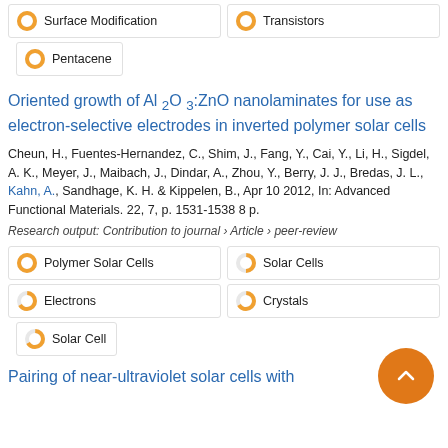100% Surface Modification
100% Transistors
100% Pentacene
Oriented growth of Al₂O₃:ZnO nanolaminates for use as electron-selective electrodes in inverted polymer solar cells
Cheun, H., Fuentes-Hernandez, C., Shim, J., Fang, Y., Cai, Y., Li, H., Sigdel, A. K., Meyer, J., Maibach, J., Dindar, A., Zhou, Y., Berry, J. J., Bredas, J. L., Kahn, A., Sandhage, K. H. & Kippelen, B., Apr 10 2012, In: Advanced Functional Materials. 22, 7, p. 1531-1538 8 p.
Research output: Contribution to journal › Article › peer-review
100% Polymer Solar Cells
67% Solar Cells
67% Electrons
67% Crystals
67% Solar Cell
Pairing of near-ultraviolet solar cells with